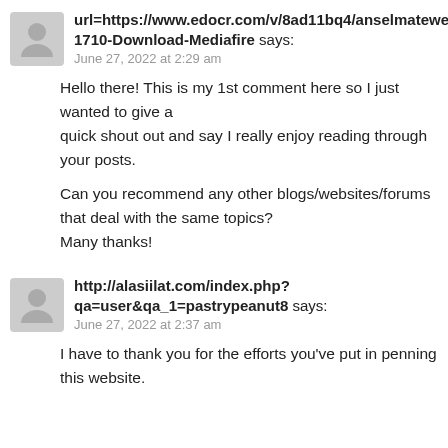url=https://www.edocr.com/v/8ad11bq4/anselmatewell/Minecraft-1710-Download-Mediafire says:
June 27, 2022 at 2:29 am
Hello there! This is my 1st comment here so I just wanted to give a quick shout out and say I really enjoy reading through your posts.

Can you recommend any other blogs/websites/forums that deal with the same topics?
Many thanks!
http://alasiilat.com/index.php?qa=user&qa_1=pastrypeanut8 says:
June 27, 2022 at 2:37 am
I have to thank you for the efforts you've put in penning this website.